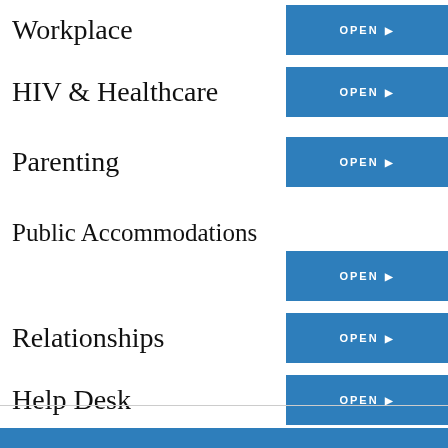Workplace
HIV & Healthcare
Parenting
Public Accommodations
Relationships
Help Desk